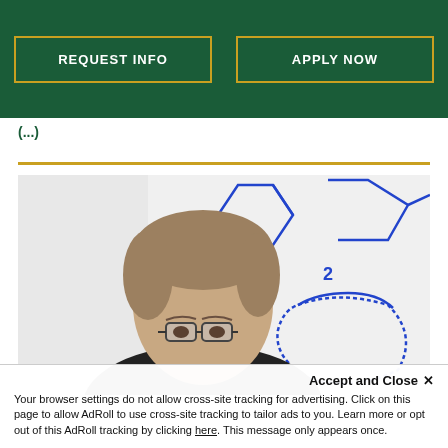[Figure (screenshot): University website header with dark green background showing two buttons: REQUEST INFO and APPLY NOW, outlined in gold/yellow borders]
(...)
[Figure (photo): Headshot of a middle-aged man with short brown/grey hair wearing glasses, standing in front of a whiteboard with blue marker drawings of molecular/chemical structures]
Accept and Close ✕
Your browser settings do not allow cross-site tracking for advertising. Click on this page to allow AdRoll to use cross-site tracking to tailor ads to you. Learn more or opt out of this AdRoll tracking by clicking here. This message only appears once.